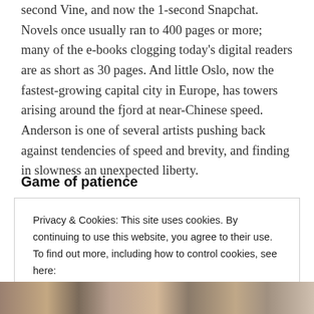second Vine, and now the 1-second Snapchat. Novels once usually ran to 400 pages or more; many of the e-books clogging today's digital readers are as short as 30 pages. And little Oslo, now the fastest-growing capital city in Europe, has towers arising around the fjord at near-Chinese speed. Anderson is one of several artists pushing back against tendencies of speed and brevity, and finding in slowness an unexpected liberty.
Game of patience
Privacy & Cookies: This site uses cookies. By continuing to use this website, you agree to their use.
To find out more, including how to control cookies, see here:
Cookie Policy

Close and accept
[Figure (photo): Partial photo strip at bottom of page showing people, cropped]